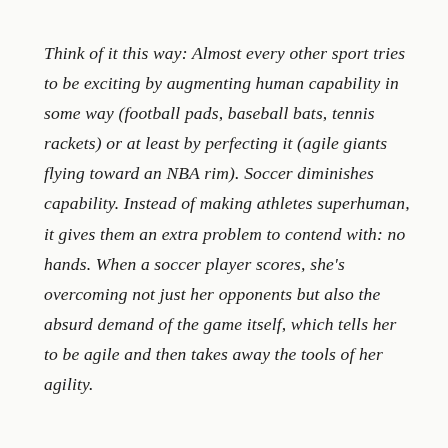Think of it this way: Almost every other sport tries to be exciting by augmenting human capability in some way (football pads, baseball bats, tennis rackets) or at least by perfecting it (agile giants flying toward an NBA rim). Soccer diminishes capability. Instead of making athletes superhuman, it gives them an extra problem to contend with: no hands. When a soccer player scores, she's overcoming not just her opponents but also the absurd demand of the game itself, which tells her to be agile and then takes away the tools of her agility.